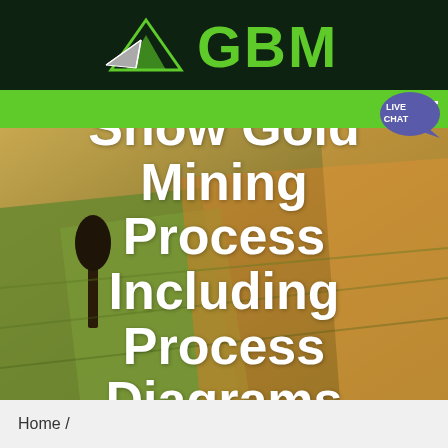[Figure (logo): GBM logo with mountain and arrow graphic on dark green header bar]
[Figure (infographic): Green navigation bar with hamburger menu icon and Live Chat bubble badge]
[Figure (photo): Aerial landscape photo of agricultural fields with warm golden-green tones and a lone tree]
Show Gold Mining Process Including Process Diagrams
Home /